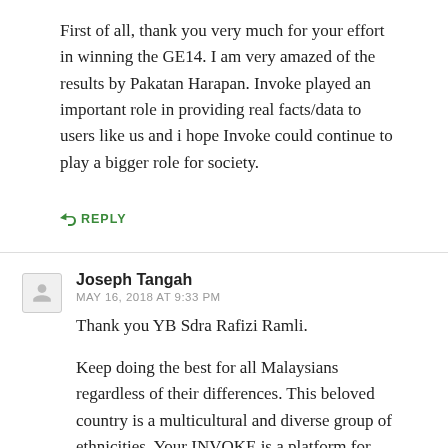First of all, thank you very much for your effort in winning the GE14. I am very amazed of the results by Pakatan Harapan. Invoke played an important role in providing real facts/data to users like us and i hope Invoke could continue to play a bigger role for society.
↳ REPLY
Joseph Tangah
MAY 16, 2018 AT 9:33 PM
Thank you YB Sdra Rafizi Ramli.
Keep doing the best for all Malaysians regardless of their differences. This beloved country is a multicultural and diverse group of ethnicities. Your INVOKE is a platform for progress in this struggle of freedom and reform.